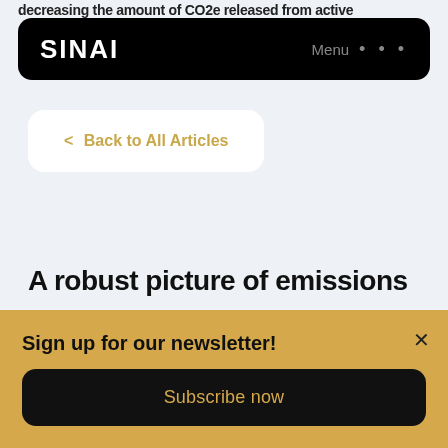decreasing the amount of CO2e released from active
SINAI   Menu •••
< Back to All Articles
A robust picture of emissions
Sign up for our newsletter!
Subscribe now